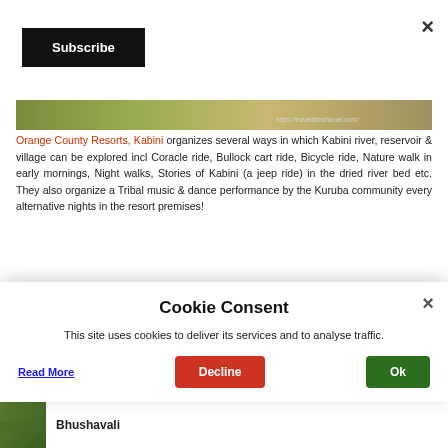×
Subscribe
[Figure (photo): Landscape image strip with watermark text 'https://travelbhushavali.com/']
Orange County Resorts, Kabini organizes several ways in which Kabini river, reservoir & village can be explored incl Coracle ride, Bullock cart ride, Bicycle ride, Nature walk in early mornings, Night walks, Stories of Kabini (a jeep ride) in the dried river bed etc. They also organize a Tribal music & dance performance by the Kuruba community every alternative nights in the resort premises!
Cookie Consent
This site uses cookies to deliver its services and to analyse traffic.
Read More
Decline
Ok
Bhushavali